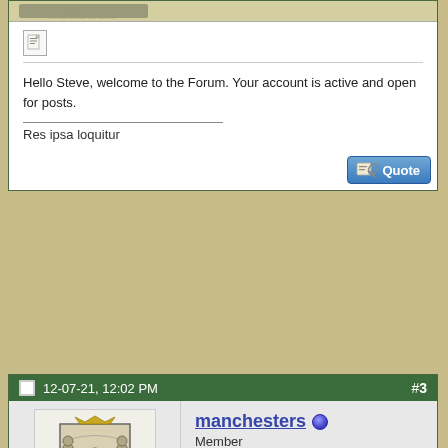Hello Steve, welcome to the Forum. Your account is active and open for posts.
Res ipsa loquitur
[Figure (screenshot): Quote button with pencil icon]
12-07-21, 12:02 PM  #3
[Figure (illustration): Coat of arms avatar for user manchesters]
manchesters  Member  Join Date: Jan 2009  Location: Lancashire  Posts: 6,953
Steve,

What you have are arm badges worn on the sleeve of uniforms for attendance and winning at National Shooting matches. Yous appear to be South African.

they are not relating to the KRRC.

I have collected many such badges in the past and can assist on